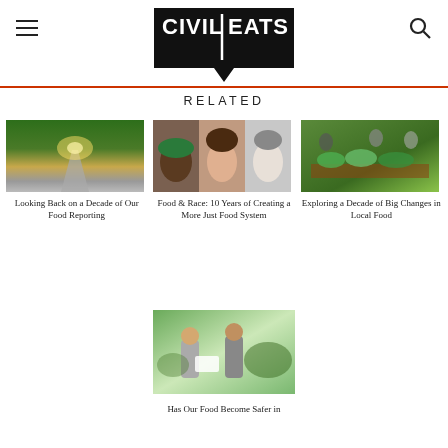Civil Eats
RELATED
[Figure (photo): Road disappearing into forest with sunlight]
Looking Back on a Decade of Our Food Reporting
[Figure (photo): Three faces: a Black man with green hat, a smiling woman, and a man in black and white]
Food & Race: 10 Years of Creating a More Just Food System
[Figure (photo): People at a farmers market with fresh produce]
Exploring a Decade of Big Changes in Local Food
[Figure (photo): Two men in a field looking at documents]
Has Our Food Become Safer in